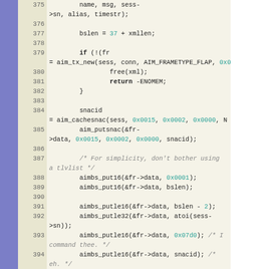Source code listing lines 375-399, C code for AIM/ICQ protocol implementation